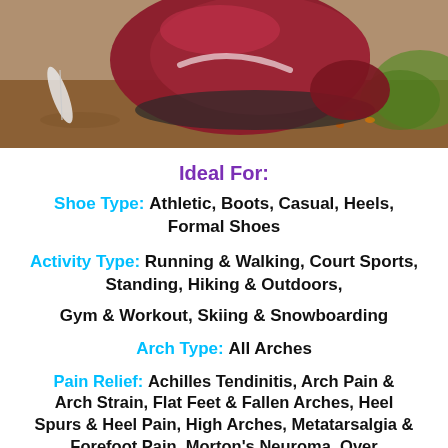[Figure (photo): Close-up photo of a maroon/dark red athletic shoe in motion outdoors, with a feather visible and autumn leaves/dirt ground in background]
Ideal For:
Shoe Type: Athletic, Boots, Casual, Heels, Formal Shoes
Activity Type: Running & Walking, Court Sports, Standing, Hiking & Outdoors, Gym & Workout, Skiing & Snowboarding
Arch Type: All Arches
Pain Relief: Achilles Tendinitis, Arch Pain & Arch Strain, Flat Feet & Fallen Arches, Heel Spurs & Heel Pain, High Arches, Metatarsalgia & Forefoot Pain, Morton's Neuroma, Over